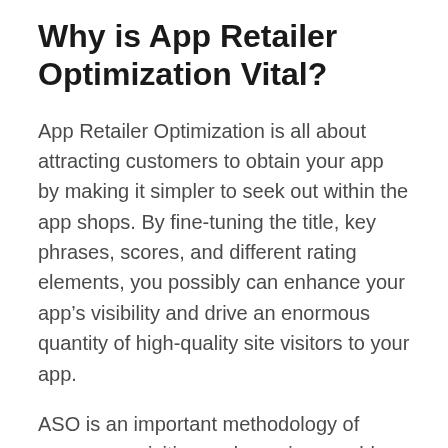Why is App Retailer Optimization Vital?
App Retailer Optimization is all about attracting customers to obtain your app by making it simpler to seek out within the app shops. By fine-tuning the title, key phrases, scores, and different rating elements, you possibly can enhance your app’s visibility and drive an enormous quantity of high-quality site visitors to your app.
ASO is an important methodology of person acquisition and a serious problem for cellular apps. And it could appear complicated — complete books have been dedicated to the